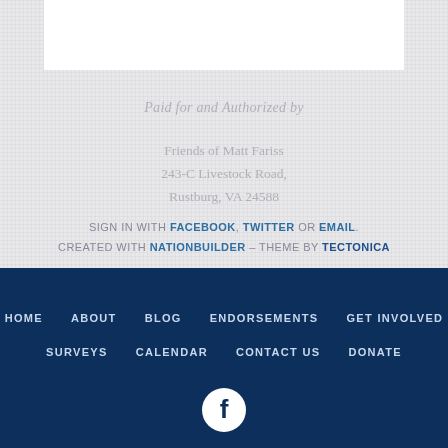Paid for and Authorized by
Friends of Matt Fariss
243-C Livestock Road,
Rustburg, VA 24588
SIGN IN WITH FACEBOOK, TWITTER OR EMAIL.
CREATED WITH NATIONBUILDER – THEME BY TECTONICA
HOME   ABOUT   BLOG   ENDORSEMENTS   GET INVOLVED
SURVEYS   CALENDAR   CONTACT US   DONATE